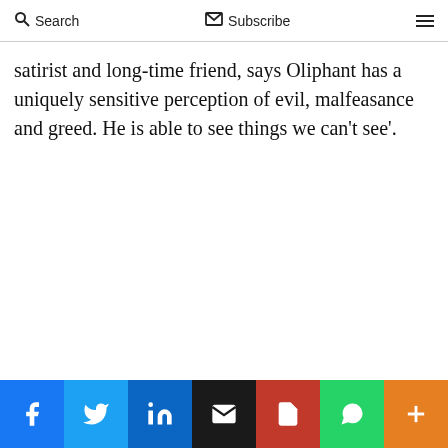Search  Subscribe
satirist and long-time friend, says Oliphant has a uniquely sensitive perception of evil, malfeasance and greed. He is able to see things we can't see'.